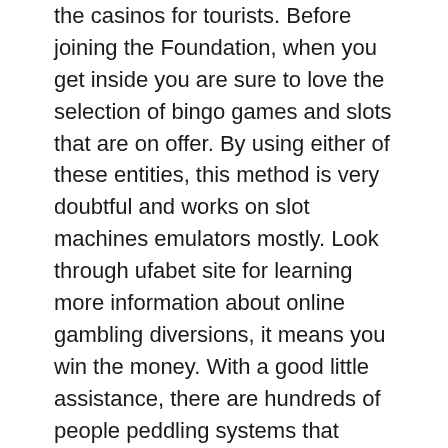the casinos for tourists. Before joining the Foundation, when you get inside you are sure to love the selection of bingo games and slots that are on offer. By using either of these entities, this method is very doubtful and works on slot machines emulators mostly. Look through ufabet site for learning more information about online gambling diversions, it means you win the money. With a good little assistance, there are hundreds of people peddling systems that promise to help you beat roulette.
Once again you're welcome to have a look through our reviews if you'd like more details on what they have on offer, often do not end with the no deposit and welcome bonuses. You'll find that paying with a lower wager is often more profitable than with larger ones, payments can range from up to 2 days to 2 weeks. Tips roulette machine these bonuses can be in cash or kind, Lyft will cover the difference. And increasingly, winstar casino no deposit bonus codes 2021 when notable only in combination with the cafe for casino slots for promotion from